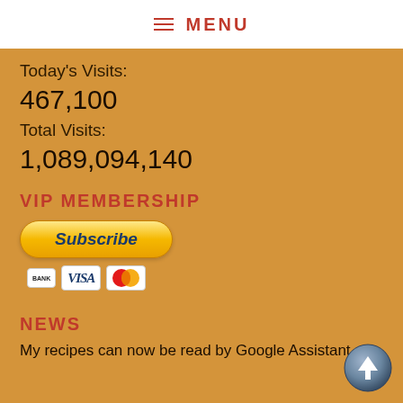MENU
Today's Visits:
467,100
Total Visits:
1,089,094,140
VIP MEMBERSHIP
[Figure (other): PayPal Subscribe button with payment card icons (BANK, VISA, MasterCard)]
NEWS
My recipes can now be read by Google Assistant.
[Figure (other): Scroll-to-top circular button with upward arrow]